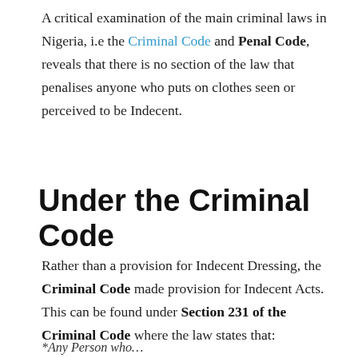A critical examination of the main criminal laws in Nigeria, i.e the Criminal Code and Penal Code, reveals that there is no section of the law that penalises anyone who puts on clothes seen or perceived to be Indecent.
Under the Criminal Code
Rather than a provision for Indecent Dressing, the Criminal Code made provision for Indecent Acts. This can be found under Section 231 of the Criminal Code where the law states that:
*Any Person who...